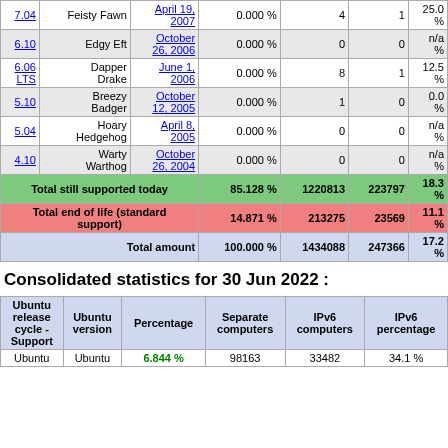| Version | Name | Date | Percentage | Separate computers | IPv6 computers | IPv6 percentage |
| --- | --- | --- | --- | --- | --- | --- |
| 7.04 | Feisty Fawn | April 19, 2007 | 0.000 % | 4 | 1 | 25.0 % |
| 6.10 | Edgy Eft | October 26, 2006 | 0.000 % | 0 | 0 | n/a % |
| 6.06 LTS | Dapper Drake | June 1, 2006 | 0.000 % | 8 | 1 | 12.5 % |
| 5.10 | Breezy Badger | October 12, 2005 | 0.000 % | 1 | 0 | 0.0 % |
| 5.04 | Hoary Hedgehog | April 8, 2005 | 0.000 % | 0 | 0 | n/a % |
| 4.10 | Warty Warthog | October 26, 2004 | 0.000 % | 0 | 0 | n/a % |
| Total still supported today |  |  | 85.128 % | 1220813 | 223797 | 18.3 % |
| Total end of life (standard support) |  |  | 14.871 % | 213275 | 23569 | 11.1 % |
| Total amount |  |  | 100.000 % | 1434088 | 247366 | 17.2 % |
Consolidated statistics for 30 Jun 2022 :
| Ubuntu release cycle - Support | Ubuntu version | Percentage | Separate computers | IPv6 computers | IPv6 percentage |
| --- | --- | --- | --- | --- | --- |
| Ubuntu | Ubuntu | 6.844 % | 98163 | 33482 | 34.1 % |